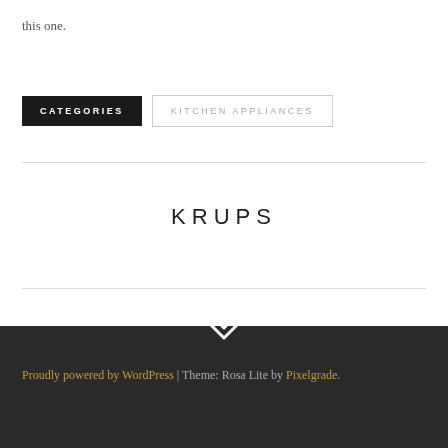this one.
CATEGORIES
KITCHEN APPLIANCES
KRUPS
Proudly powered by WordPress | Theme: Rosa Lite by Pixelgrade.